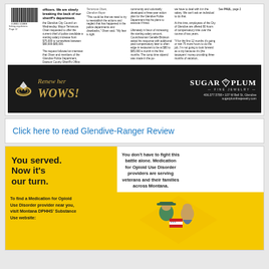[Figure (screenshot): Newspaper clipping showing article columns about Glendive City Council, police chief salary, with a barcode on the left.]
[Figure (photo): Advertisement for Sugar Plum Fine Jewelry on dark background with a diamond ring. Text: 'Renew her WOWS!' and 'SUGAR PLUM FINE JEWELRY, 406.377.5788, 107 W Bell St, Glendive, sugarplumfinejewelry.com']
Click here to read Glendive-Ranger Review
[Figure (infographic): Public health advertisement on yellow background about Medication for Opioid Use Disorder for veterans in Montana. Left side: 'You served. Now it's our turn.' Right side white box: 'You don't have to fight this battle alone. Medication for Opioid Use Disorder providers are serving veterans and their families across Montana.' Bottom: 'To find a Medication for Opioid Use Disorder provider near you, visit Montana DPHHS' Substance Use website:']